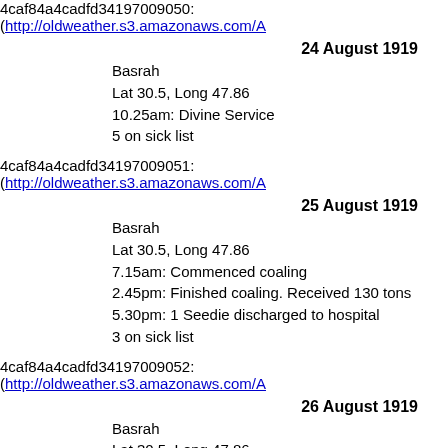4caf84a4cadfd34197009050: (http://oldweather.s3.amazonaws.com/A
24 August 1919
Basrah
Lat 30.5, Long 47.86
10.25am: Divine Service
5 on sick list
4caf84a4cadfd34197009051: (http://oldweather.s3.amazonaws.com/A
25 August 1919
Basrah
Lat 30.5, Long 47.86
7.15am: Commenced coaling
2.45pm: Finished coaling. Received 130 tons
5.30pm: 1 Seedie discharged to hospital
3 on sick list
4caf84a4cadfd34197009052: (http://oldweather.s3.amazonaws.com/A
26 August 1919
Basrah
Lat 30.5, Long 47.86
2 on sick list
4caf84a4cadfd34197009053: (http://oldweather.s3.amazonaws.com/A
27 August 1919
Basrah
Lat 30.5, Long 47.86